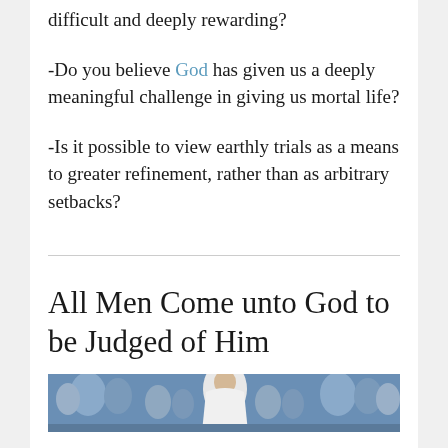difficult and deeply rewarding?
-Do you believe God has given us a deeply meaningful challenge in giving us mortal life?
-Is it possible to view earthly trials as a means to greater refinement, rather than as arbitrary setbacks?
All Men Come unto God to be Judged of Him
[Figure (illustration): Religious painting showing a central figure (Christ) in white robes surrounded by other figures against a blue background]